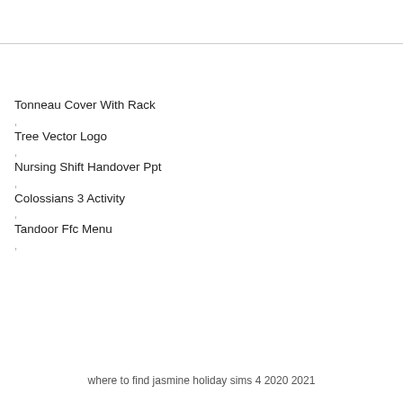Tonneau Cover With Rack
,
Tree Vector Logo
,
Nursing Shift Handover Ppt
,
Colossians 3 Activity
,
Tandoor Ffc Menu
,
where to find jasmine holiday sims 4 2020 2021